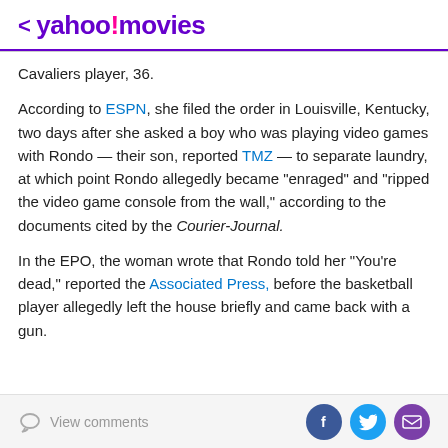< yahoo!/movies
Cavaliers player, 36.
According to ESPN, she filed the order in Louisville, Kentucky, two days after she asked a boy who was playing video games with Rondo — their son, reported TMZ — to separate laundry, at which point Rondo allegedly became "enraged" and "ripped the video game console from the wall," according to the documents cited by the Courier-Journal.
In the EPO, the woman wrote that Rondo told her "You're dead," reported the Associated Press, before the basketball player allegedly left the house briefly and came back with a gun.
View comments